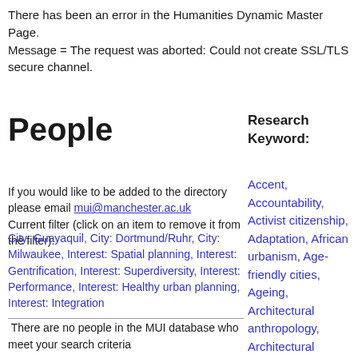There has been an error in the Humanities Dynamic Master Page. Message = The request was aborted: Could not create SSL/TLS secure channel.
People
Research Keyword:
If you would like to be added to the directory please email mui@manchester.ac.uk
Current filter (click on an item to remove it from the filter):
City: Guayaquil, City: Dortmund/Ruhr, City: Milwaukee, Interest: Spatial planning, Interest: Gentrification, Interest: Superdiversity, Interest: Performance, Interest: Healthy urban planning, Interest: Integration
There are no people in the MUI database who meet your search criteria
Accent, Accountability, Activist citizenship, Adaptation, African urbanism, Age-friendly cities, Ageing, Architectural anthropology, Architectural drawing, Architectural ethnography, Architecture, Art, Aspiration, Atmosphere, Austerity,